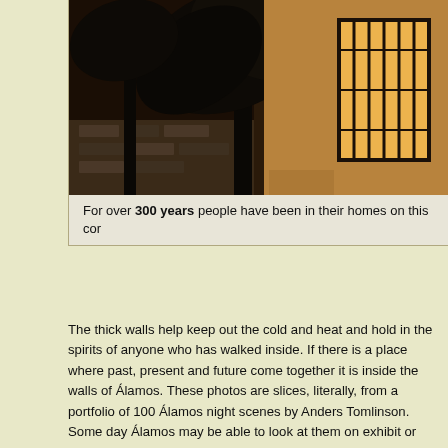[Figure (photo): Sepia-toned night photograph showing palm trees and building exterior with lit windows and iron bars, sliced from a portfolio of 100 Álamos night scenes by Anders Tomlinson]
For over 300 years people have been in their homes on this cor
The thick walls help keep out the cold and heat and hold in the spirits of anyone who has walked inside. If there is a place where past, present and future come together it is inside the walls of Álamos. These photos are slices, literally, from a portfolio of 100 Álamos night scenes by Anders Tomlinson. Some day Álamos may be able to look at them on exhibit or projected at night.
[Figure (photo): Night street scene in Álamos showing illuminated colonial buildings, street lamps casting warm yellow-green light, and light trails from passing vehicles]